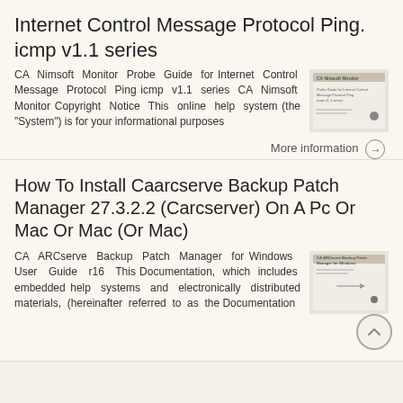Internet Control Message Protocol Ping. icmp v1.1 series
CA Nimsoft Monitor Probe Guide for Internet Control Message Protocol Ping icmp v1.1 series CA Nimsoft Monitor Copyright Notice This online help system (the "System") is for your informational purposes
[Figure (other): Thumbnail image of CA Nimsoft Monitor Probe Guide document cover]
More information →
How To Install Caarcserve Backup Patch Manager 27.3.2.2 (Carcserver) On A Pc Or Mac Or Mac (Or Mac)
CA ARCserve Backup Patch Manager for Windows User Guide r16 This Documentation, which includes embedded help systems and electronically distributed materials, (hereinafter referred to as the Documentation
[Figure (other): Thumbnail image of CA ARCserve Backup Patch Manager for Windows document cover]